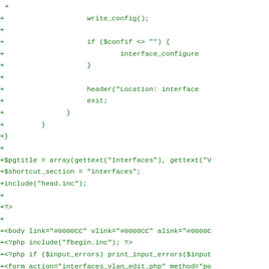Code diff showing PHP file additions including write_config(), interface_configure, header Location, exit, closing braces, $pgtitle array, $shortcut_section, include head.inc, PHP closing tag, HTML body tag, fbegin.inc include, input errors check, form action interfaces_vlan_edit.php, table and tr/td elements